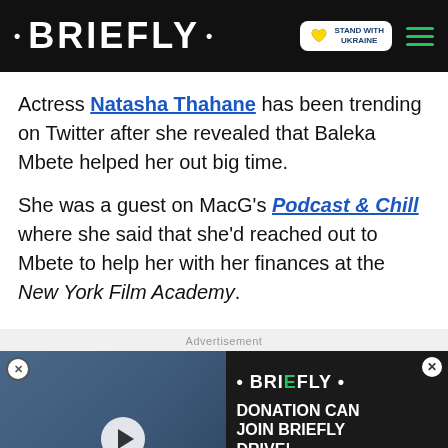• BRIEFLY •
Actress Natasha Thahane has been trending on Twitter after she revealed that Baleka Mbete helped her out big time.
She was a guest on MacG's Podcast & Chill where she said that she'd reached out to Mbete to help her with her finances at the New York Film Academy.
Advertisement
[Figure (screenshot): Video advertisement overlay showing a movie still on the left with a play button, and donation text on the right reading 'DONATION CAN JOIN BRIEFLY DRIVE!' with a red chevron button. Caption badge reads 'SHE DIRECTED THE END OF HER MARRIAGE'. Close X buttons visible.]
[Figure (screenshot): Bottom donation banner: Gift of the Givers + Briefly logo on left, text 'YOUR LITTLE DONATION CAN SAVE A LIFE! JOIN BRIEFLY NEWS BLANKET DRIVE!' in center, orange hat icon, and DONATE NOW button. Close X on right.]